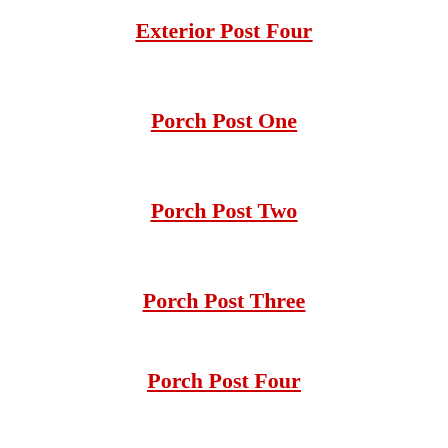Exterior Post Four
Porch Post One
Porch Post Two
Porch Post Three
Porch Post Four
SHARE THIS:
Tweet  Share 0  Save  8
LIKE THIS:
Loading...